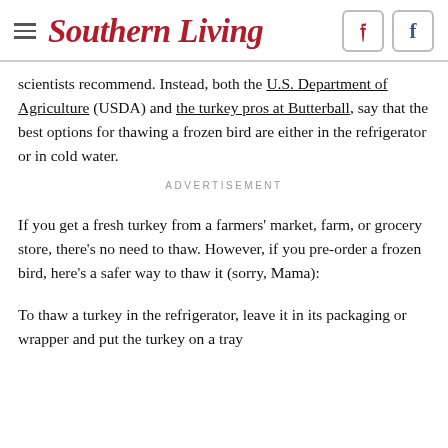Southern Living
scientists recommend. Instead, both the U.S. Department of Agriculture (USDA) and the turkey pros at Butterball, say that the best options for thawing a frozen bird are either in the refrigerator or in cold water.
ADVERTISEMENT
If you get a fresh turkey from a farmers' market, farm, or grocery store, there's no need to thaw. However, if you pre-order a frozen bird, here's a safer way to thaw it (sorry, Mama):
To thaw a turkey in the refrigerator, leave it in its packaging or wrapper and put the turkey on a tray